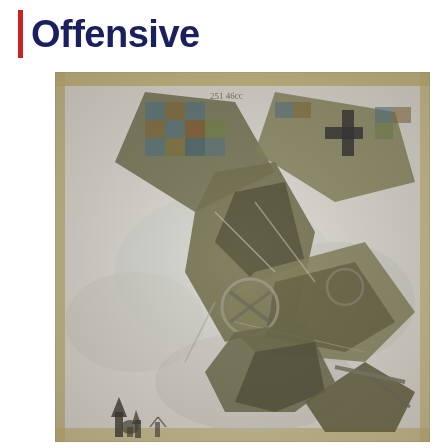Offensive
[Figure (photo): A painting or artwork depicting multiple aircraft in aerial combat or formation, rendered in muted earth tones with blue and brown geometric camouflage patterns. The painting is shown mounted on a worn wooden/gilded frame. The scene shows planes diving or in conflict against a pale grey-white sky background, with dark silhouettes of trees or ground elements visible at the bottom. The style is cubist or futurist, early 20th century war art.]